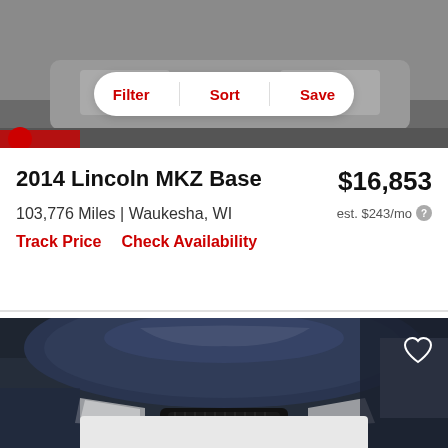[Figure (photo): Top portion of a gray Lincoln MKZ car, showing the side profile with wheels visible, with a Filter/Sort/Save toolbar overlay]
2014 Lincoln MKZ Base
$16,853
103,776 Miles | Waukesha, WI
est. $243/mo
Track Price   Check Availability
[Figure (photo): Dark blue/black Lincoln car front view showing hood, grille, and headlights in a parking lot setting]